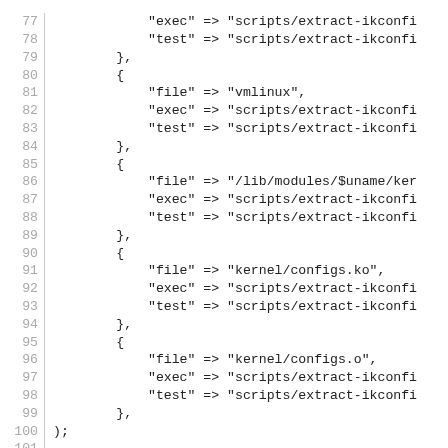Code listing lines 77-106 showing Perl script with searchconfigs array and read_config subroutine
[Figure (screenshot): Source code listing in monospace font with line numbers 77-106, showing Perl code with array of hash references containing file/exec/test keys, and beginning of read_config subroutine]